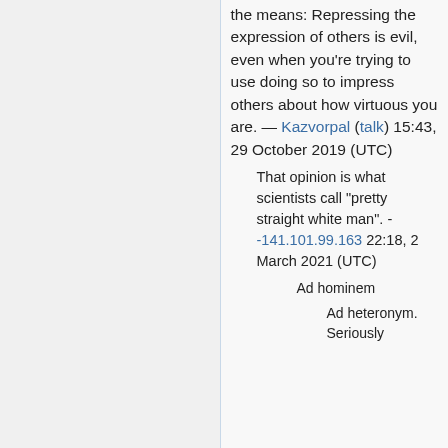the means: Repressing the expression of others is evil, even when you're trying to use doing so to impress others about how virtuous you are. — Kazvorpal (talk) 15:43, 29 October 2019 (UTC)
That opinion is what scientists call "pretty straight white man". - -141.101.99.163 22:18, 2 March 2021 (UTC)
Ad hominem
Ad heteronym. Seriously